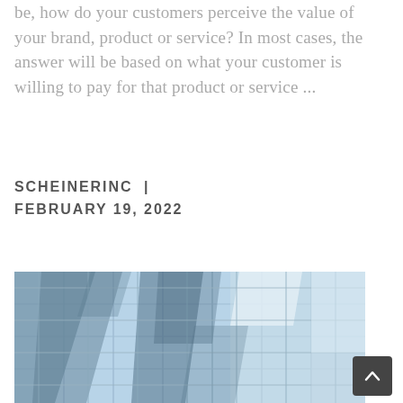be, how do your customers perceive the value of your brand, product or service? In most cases, the answer will be based on what your customer is willing to pay for that product or service ...
SCHEINERINC | FEBRUARY 19, 2022
[Figure (photo): Photograph of a modern glass building facade with blue reflective glass panels and geometric angular architecture]